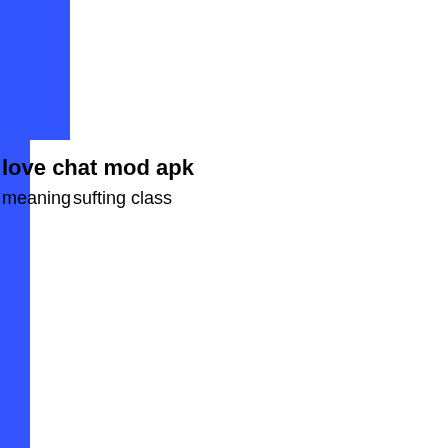[Figure (other): Blue vertical bar running full height on left side of page, with a wider blue rectangular block in the top-left corner]
love chat mod apk
meaning sufting class